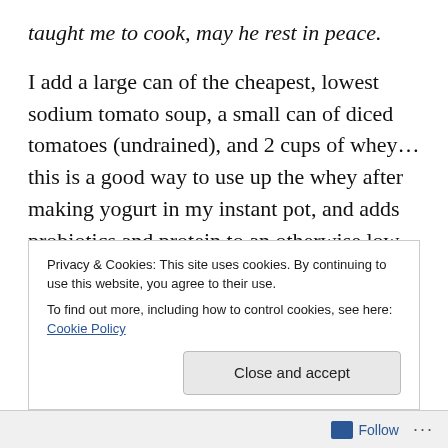taught me to cook, may he rest in peace.
I add a large can of the cheapest, lowest sodium tomato soup, a small can of diced tomatoes (undrained), and 2 cups of whey…this is a good way to use up the whey after making yogurt in my instant pot, and adds probiotics and protein to an otherwise low nutrient soup.
Let it simmer…enjoy the aroma until supper time…then brag about it to all your wordpress and facebook friends.
Happy Friday.  Enjoy.
Privacy & Cookies: This site uses cookies. By continuing to use this website, you agree to their use.
To find out more, including how to control cookies, see here: Cookie Policy
Close and accept
Follow